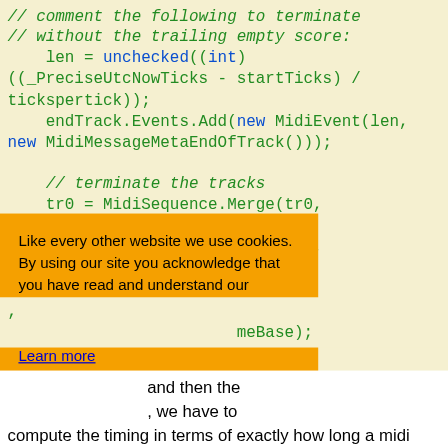[Figure (screenshot): Code snippet showing C# MIDI sequence code with green monospace font on pale yellow background, with a cookie consent banner overlay (orange background) containing cookie policy text, links, and buttons (Ask me later, Decline, Allow cookies), and white text area at bottom]